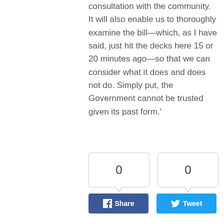consultation with the community. It will also enable us to thoroughly examine the bill—which, as I have said, just hit the decks here 15 or 20 minutes ago—so that we can consider what it does and does not do. Simply put, the Government cannot be trusted given its past form.'
[Figure (infographic): Three share count boxes each showing 0, with Facebook Share, Twitter Tweet, and LinkedIn Share buttons below.]
SEARCH